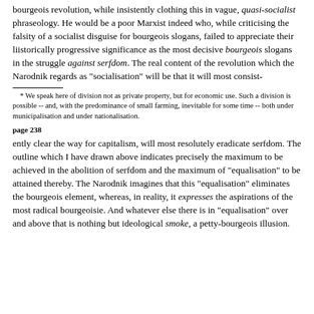bourgeois revolution, while insistently clothing this in vague, quasi-socialist phraseology. He would be a poor Marxist indeed who, while criticising the falsity of a socialist disguise for bourgeois slogans, failed to appreciate their liistorically progressive significance as the most decisive bourgeois slogans in the struggle against serfdom. The real content of the revolution which the Narodnik regards as "socialisation" will be that it will most consist-
* We speak here of division not as private property, but for economic use. Such a division is possible -- and, with the predominance of small farming, inevitable for some time -- both under municipalisation and under nationalisation.
page 238
ently clear the way for capitalism, will most resolutely eradicate serfdom. The outline which I have drawn above indicates precisely the maximum to be achieved in the abolition of serfdom and the maximum of "equalisation" to be attained thereby. The Narodnik imagines that this "equalisation" eliminates the bourgeois element, whereas, in reality, it expresses the aspirations of the most radical bourgeoisie. And whatever else there is in "equalisation" over and above that is nothing but ideological smoke, a petty-bourgeois illusion.